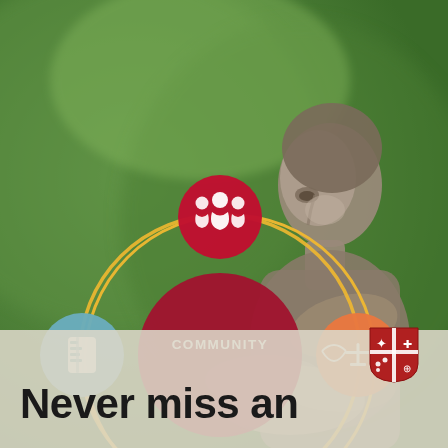[Figure (photo): Background photo of a bronze statue of a figure with hands outstretched, set against blurred green foliage. Overlaid is an infographic diagram showing a central red circle labeled COMMUNITY connected by a gold ring to four colored satellite circles with icons: top red circle with people/community icon, left teal/blue circle with document/book icon, right orange circle with scales of justice icon, bottom purple/blue circle with hands holding heart icon.]
Never miss an
[Figure (logo): Red and white shield/crest logo of a university in the bottom right corner]